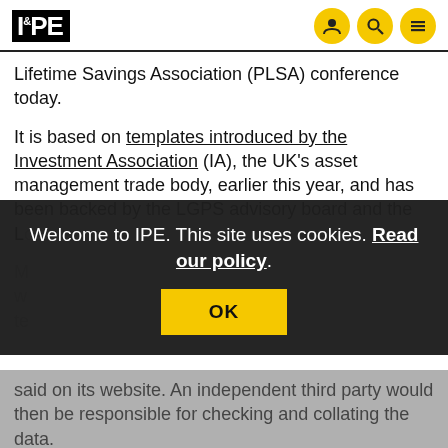IPE
Lifetime Savings Association (PLSA) conference today.
It is based on templates introduced by the Investment Association (IA), the UK's asset management trade body, earlier this year, and has been backed by the LGPS advisory board and the Lo
Welcome to IPE. This site uses cookies. Read our policy.
OK
said on its website. An independent third party would then be responsible for checking and collating the data.